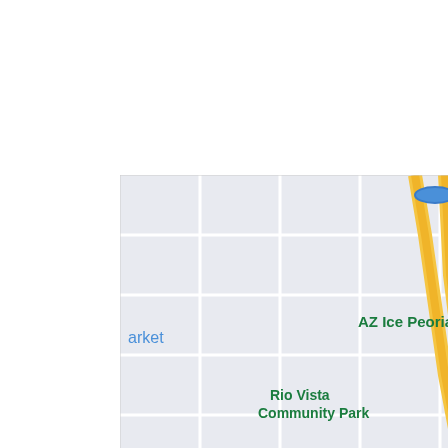[Figure (map): Google Maps view of Peoria, Arizona area showing AZ Ice Peoria, Rio Vista Community Park, Sky Zone Trampoline Park, Sun City, Peoria, and Banner T Medical center. Major roads including Route 60 visible with yellow highway lines. Map has light gray grid street layout with blue water features.]